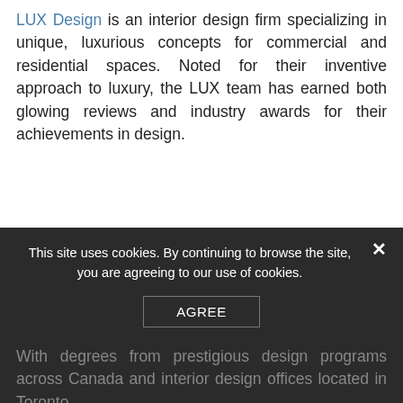LUX Design is an interior design firm specializing in unique, luxurious concepts for commercial and residential spaces. Noted for their inventive approach to luxury, the LUX team has earned both glowing reviews and industry awards for their achievements in design.
This site uses cookies. By continuing to browse the site, you are agreeing to our use of cookies.
AGREE
With degrees from prestigious design programs across Canada and interior design offices located in Toronto,